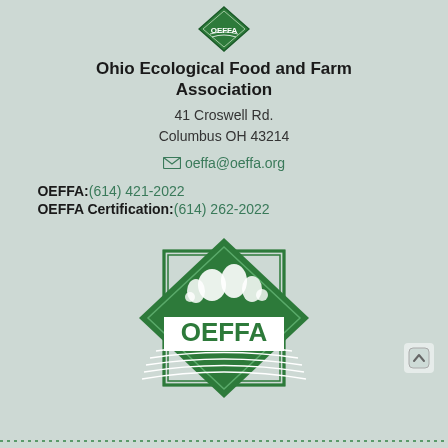[Figure (logo): OEFFA logo - small version at top of page, green diamond shape with OEFFA text]
Ohio Ecological Food and Farm Association
41 Croswell Rd.
Columbus OH 43214
oeffa@oeffa.org
OEFFA:(614) 421-2022
OEFFA Certification:(614) 262-2022
[Figure (logo): OEFFA logo - large version, green diamond shape with farm imagery and OEFFA text in white]